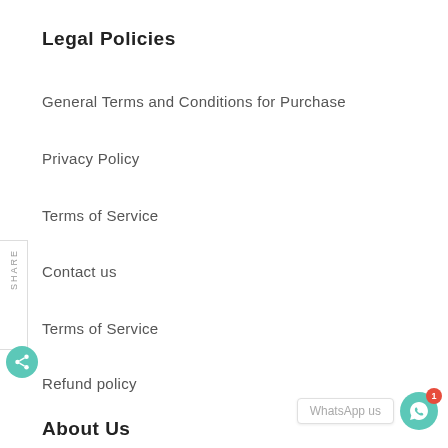Legal Policies
General Terms and Conditions for Purchase
Privacy Policy
Terms of Service
Contact us
Terms of Service
Refund policy
About Us
GDV Wanchai